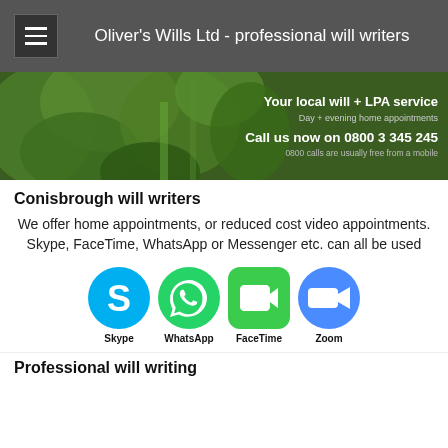Oliver's Wills Ltd - professional will writers
[Figure (photo): Green foliage/waterfall hero banner with text overlay: 'Your local will + LPA service', 'Day + evening home appointments', 'Call us now on 0800 3 345 245', '0800 calls are usually free from a mobile']
Conisbrough will writers
We offer home appointments, or reduced cost video appointments. Skype, FaceTime, WhatsApp or Messenger etc. can all be used
[Figure (logo): Four app icons in a row: Skype (blue circle with S), WhatsApp (green circle with phone), FaceTime (green rounded square with camera), Zoom (blue circle with camera). Labels beneath: Skype, WhatsApp, FaceTime, Zoom]
Professional will writing